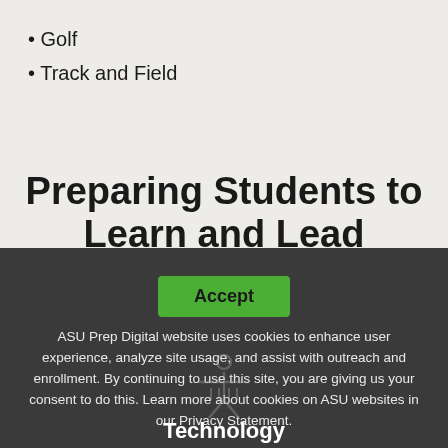• Golf
• Track and Field
Preparing Students to Learn and Lead
[Figure (other): Green Accept button for cookie consent overlay]
ASU Prep Digital website uses cookies to enhance user experience, analyze site usage, and assist with outreach and enrollment. By continuing to use this site, you are giving us your consent to do this. Learn more about cookies on ASU websites in our Privacy Statement.
Technology